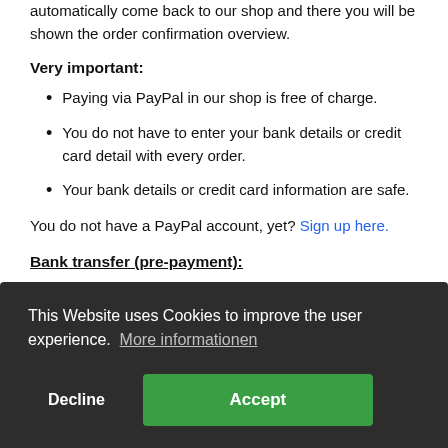automatically come back to our shop and there you will be shown the order confirmation overview.
Very important:
Paying via PayPal in our shop is free of charge.
You do not have to enter your bank details or credit card detail with every order.
Your bank details or credit card information are safe.
You do not have a PayPal account, yet? Sign up here.
Bank transfer (pre-payment):
For orders via bank transfer (pre-payment), we kindly ask
This Website uses Cookies to improve the user experience. More informationen
Decline
Accept